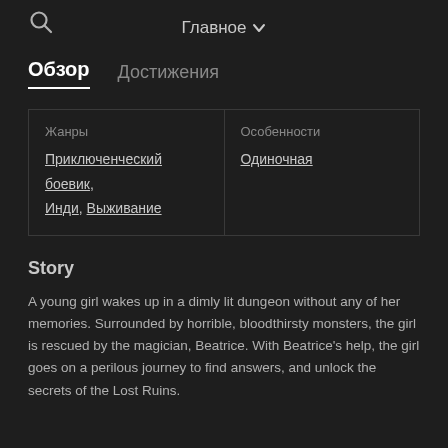Главное
Обзор  Достижения
| Жанры | Особенности |
| --- | --- |
| Приключенческий боевик, Инди, Выживание | Одиночная |
Story
A young girl wakes up in a dimly lit dungeon without any of her memories. Surrounded by horrible, bloodthirsty monsters, the girl is rescued by the magician, Beatrice. With Beatrice's help, the girl goes on a perilous journey to find answers, and unlock the secrets of the Lost Ruins.